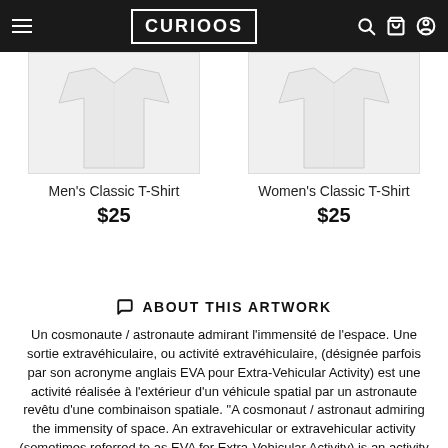CURIOOS
[Figure (photo): Men's Classic T-Shirt product image showing white t-shirt]
Men's Classic T-Shirt
$25
[Figure (photo): Women's Classic T-Shirt product image showing white t-shirt]
Women's Classic T-Shirt
$25
ABOUT THIS ARTWORK
Un cosmonaute / astronaute admirant l'immensité de l'espace. Une sortie extravéhiculaire, ou activité extravéhiculaire, (désignée parfois par son acronyme anglais EVA pour Extra-Vehicular Activity) est une activité réalisée à l'extérieur d'un véhicule spatial par un astronaute revêtu d'une combinaison spatiale. "A cosmonaut / astronaut admiring the immensity of space. An extravehicular or extravehicular activity (sometimes referred to as EVA for Extra-Vehicular Activity) is an activity performed outside a space vehicle by an astronaut wearing a space suit"